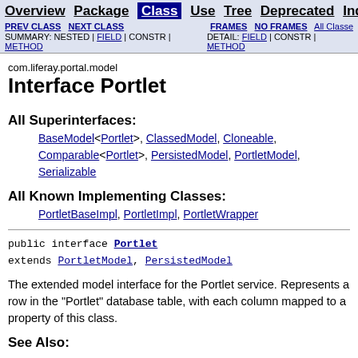Overview  Package  Class  Use  Tree  Deprecated  Index  H | PREV CLASS  NEXT CLASS | FRAMES  NO FRAMES  All Classes | SUMMARY: NESTED | FIELD | CONSTR | METHOD | DETAIL: FIELD | CONSTR | METHOD
com.liferay.portal.model
Interface Portlet
All Superinterfaces:
BaseModel<Portlet>, ClassedModel, Cloneable, Comparable<Portlet>, PersistedModel, PortletModel, Serializable
All Known Implementing Classes:
PortletBaseImpl, PortletImpl, PortletWrapper
public interface Portlet extends PortletModel, PersistedModel
The extended model interface for the Portlet service. Represents a row in the "Portlet" database table, with each column mapped to a property of this class.
See Also: